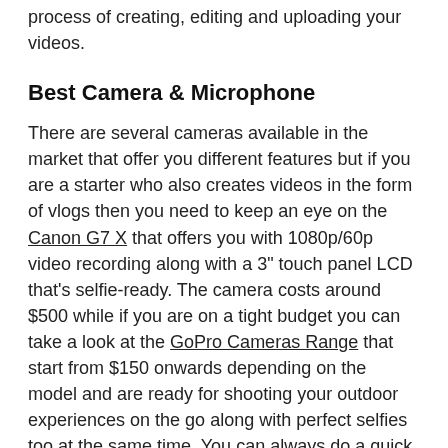process of creating, editing and uploading your videos.
Best Camera & Microphone
There are several cameras available in the market that offer you different features but if you are a starter who also creates videos in the form of vlogs then you need to keep an eye on the Canon G7 X that offers you with 1080p/60p video recording along with a 3" touch panel LCD that's selfie-ready. The camera costs around $500 while if you are on a tight budget you can take a look at the GoPro Cameras Range that start from $150 onwards depending on the model and are ready for shooting your outdoor experiences on the go along with perfect selfies too at the same time. You can always do a quick search based on the ratings